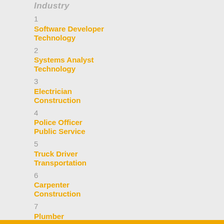Industry
1
Software Developer
Technology
2
Systems Analyst
Technology
3
Electrician
Construction
4
Police Officer
Public Service
5
Truck Driver
Transportation
6
Carpenter
Construction
7
Plumber
Construction
8
IT Support Specialist